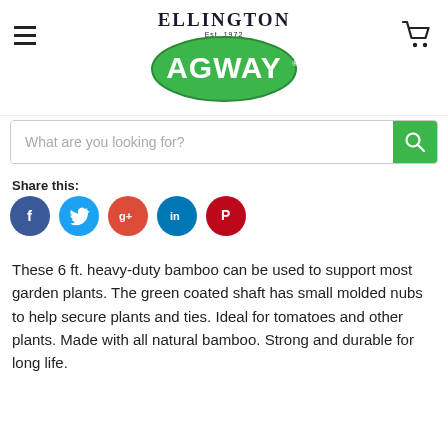[Figure (logo): Ellington Agway logo — green oval with white AGWAY text, Ellington Est. 1972 above in dark serif font]
[Figure (other): Hamburger menu icon (three horizontal lines) on the left and shopping cart icon on the right]
[Figure (other): Search bar with placeholder text 'What are you looking for?' and green search button with magnifying glass icon]
Share this:
[Figure (infographic): Five social media share icons: Facebook (dark blue), Twitter (light blue), Google+ (red), LinkedIn (teal), Pinterest (dark red)]
These 6 ft. heavy-duty bamboo can be used to support most garden plants. The green coated shaft has small molded nubs to help secure plants and ties. Ideal for tomatoes and other plants. Made with all natural bamboo. Strong and durable for long life.